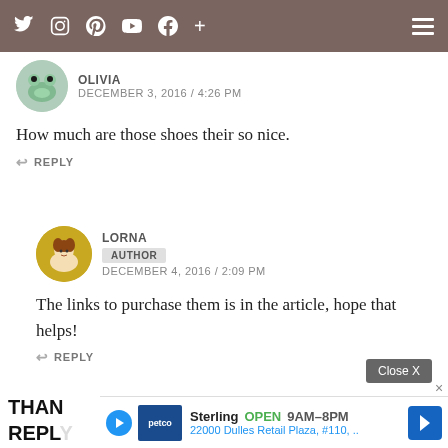Twitter Instagram Pinterest YouTube Facebook + [hamburger menu] — navigation bar
OLIVIA
DECEMBER 3, 2016 / 4:26 PM
How much are those shoes their so nice.
↩ REPLY
LORNA
AUTHOR
DECEMBER 4, 2016 / 2:09 PM
The links to purchase them is in the article, hope that helps!
↩ REPLY
THAN
REPLY
[Figure (screenshot): Advertisement banner: Petco ad showing Sterling OPEN 9AM–8PM, 22000 Dulles Retail Plaza, #110, with Close X button and navigation arrow icon]
Close X
Sterling OPEN 9AM–8PM
22000 Dulles Retail Plaza, #110, ..